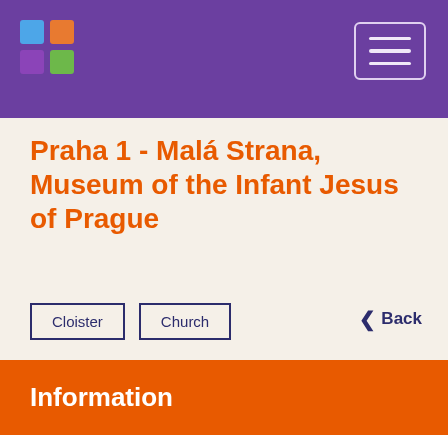Praha 1 - Malá Strana, Museum of the Infant Jesus of Prague
Praha 1 - Malá Strana, Museum of the Infant Jesus of Prague
Cloister
Church
Information
Dressing the statue of the Infant Jesus of Prague in a colour of the current liturgical period is an ancient tradition. The statuette has currently over 300 garments donated by believers from around the world as a token of gratitude.
In the museum you can see selected historical textiles and clothes donated by believers from different countries (e.g. Korea, Mexico). There are for example dresses by Emperor Ferdinand II, writer Paolo Coelho and a crown donated by Pope Benedict XVI during...